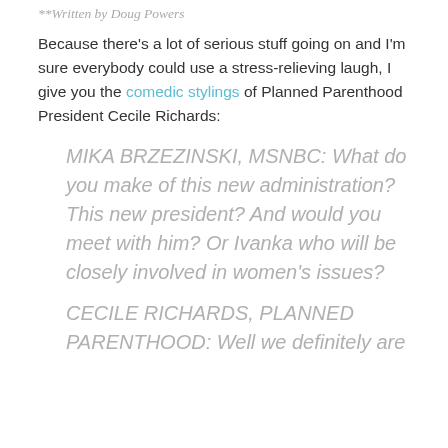**Written by Doug Powers
Because there’s a lot of serious stuff going on and I’m sure everybody could use a stress-relieving laugh, I give you the comedic stylings of Planned Parenthood President Cecile Richards:
MIKA BRZEZINSKI, MSNBC: What do you make of this new administration? This new president? And would you meet with him? Or Ivanka who will be closely involved in women’s issues?
CECILE RICHARDS, PLANNED PARENTHOOD: Well we definitely are